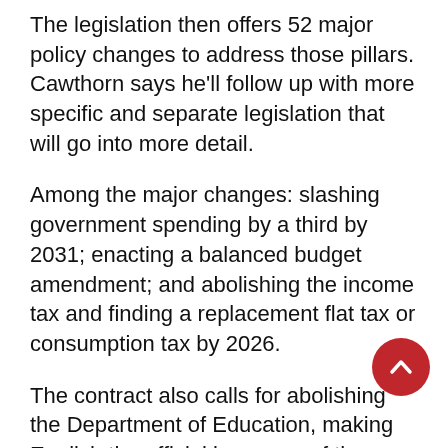The legislation then offers 52 major policy changes to address those pillars. Cawthorn says he'll follow up with more specific and separate legislation that will go into more detail.
Among the major changes: slashing government spending by a third by 2031; enacting a balanced budget amendment; and abolishing the income tax and finding a replacement flat tax or consumption tax by 2026.
The contract also calls for abolishing the Department of Education, making English the official language of the United States, banning federal funding for critical race theory teachings, and enacting school choice on the federal level so federal dollars follow the student to their school of